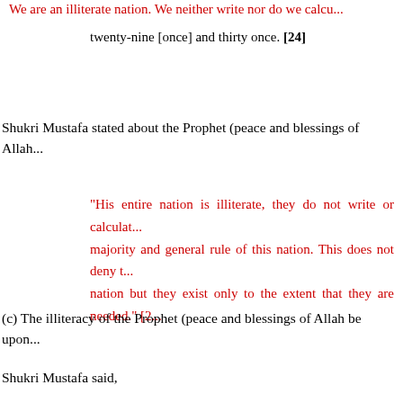We are an illiterate nation. We neither write nor do we calcu... twenty-nine [once] and thirty once. [24]
Shukri Mustafa stated about the Prophet (peace and blessings of Allah...
"His entire nation is illiterate, they do not write or calculat... majority and general rule of this nation. This does not deny t... nation but they exist only to the extent that they are needed." [2...
(c) The illiteracy of the Prophet (peace and blessings of Allah be upon...
Shukri Mustafa said,